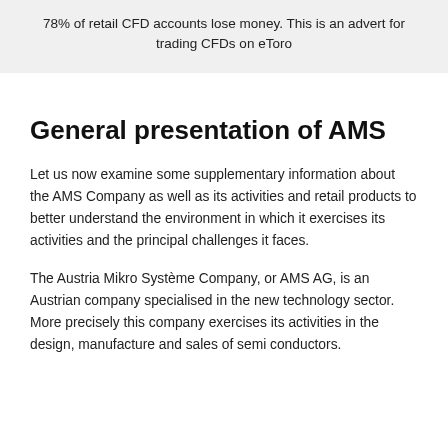78% of retail CFD accounts lose money. This is an advert for trading CFDs on eToro
General presentation of AMS
Let us now examine some supplementary information about the AMS Company as well as its activities and retail products to better understand the environment in which it exercises its activities and the principal challenges it faces.
The Austria Mikro Système Company, or AMS AG, is an Austrian company specialised in the new technology sector. More precisely this company exercises its activities in the design, manufacture and sales of semi conductors.